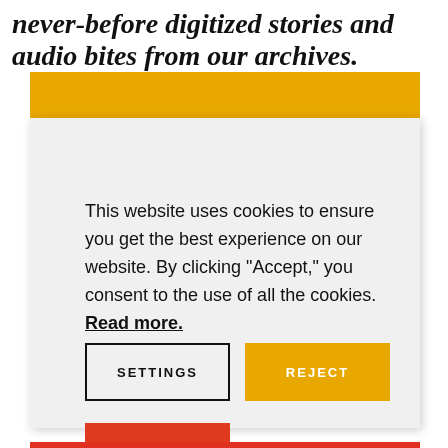never-before digitized stories and audio bites from our archives.
This website uses cookies to ensure you get the best experience on our website. By clicking “Accept,” you consent to the use of all the cookies. Read more.